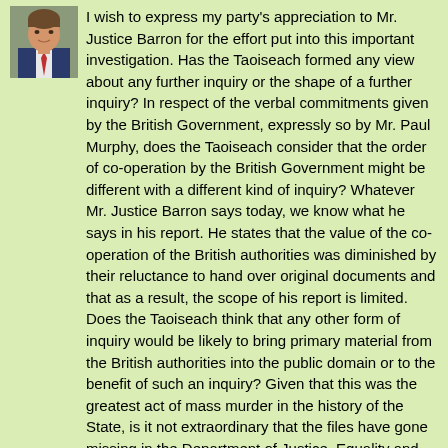[Figure (photo): Headshot photo of a man in a suit and tie]
I wish to express my party's appreciation to Mr. Justice Barron for the effort put into this important investigation. Has the Taoiseach formed any view about any further inquiry or the shape of a further inquiry? In respect of the verbal commitments given by the British Government, expressly so by Mr. Paul Murphy, does the Taoiseach consider that the order of co-operation by the British Government might be different with a different kind of inquiry? Whatever Mr. Justice Barron says today, we know what he says in his report. He states that the value of the co-operation of the British authorities was diminished by their reluctance to hand over original documents and that as a result, the scope of his report is limited. Does the Taoiseach think that any other form of inquiry would be likely to bring primary material from the British authorities into the public domain or to the benefit of such an inquiry? Given that this was the greatest act of mass murder in the history of the State, is it not extraordinary that the files have gone missing in the Department of Justice, Equality and Law Reform?
Whereas this House quite correctly points the finger at the British for not being as forthcoming as it might be, is it not extraordinary that our Administration can only put its hands up and say that the files are missing and the Taoiseach says he cannot say or do anything further? I accept that the Taoiseach is not responsible but it is extraordinary.
Does the Taoiseach propose to institute any inquiry into why the documents are missing from the Department of Justice, Equality and Law